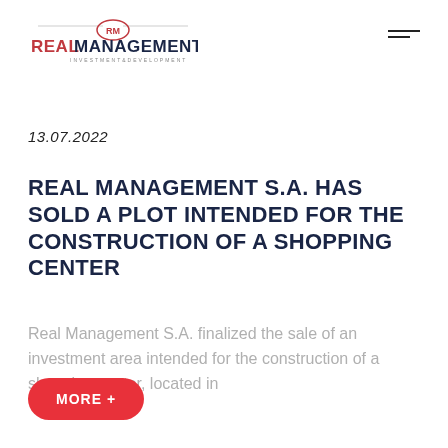[Figure (logo): Real Management logo with RM oval emblem and text REAL MANAGEMENT INVESTMENT&DEVELOPMENT]
13.07.2022
REAL MANAGEMENT S.A. HAS SOLD A PLOT INTENDED FOR THE CONSTRUCTION OF A SHOPPING CENTER
Real Management S.A. finalized the sale of an investment area intended for the construction of a shopping center, located in
MORE +